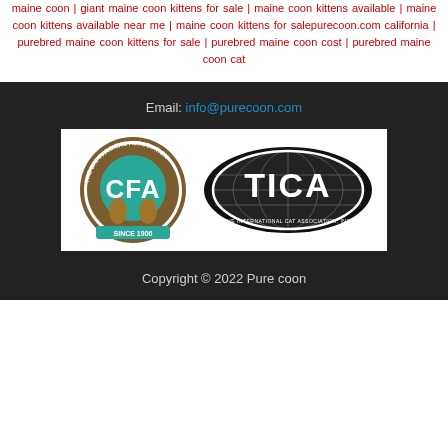maine coon | giant maine coon kittens for sale | maine coon kittens available | maine coon kittens available near me | maine coon kittens for salepurecoon.com california | purebred maine coon kittens for sale | purebred maine coon cost | purebred maine coon cat
Email: info@purecoon.com
[Figure (logo): CFA (The Cat Fanciers Association, Since 1906) and TICA (The International Cat Association Inc.) logos side by side on white background]
Copyright © 2022 Pure coon